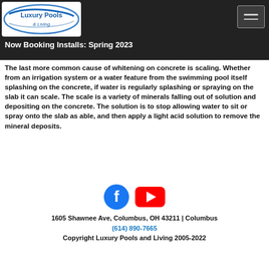most cases this will allow the sealer to adhere to the slab again and help the whitening appearance.
[Figure (logo): Luxury Pools & Living logo — oval shape with blue and silver swoosh, text 'Luxury Pools & Living' in blue]
Now Booking Installs: Spring 2023
The last more common cause of whitening on concrete is scaling. Whether from an irrigation system or a water feature from the swimming pool itself splashing on the concrete, if water is regularly splashing or spraying on the slab it can scale. The scale is a variety of minerals falling out of solution and depositing on the concrete. The solution is to stop allowing water to sit or spray onto the slab as able, and then apply a light acid solution to remove the mineral deposits.
[Figure (illustration): Facebook icon (blue circle with white 'f') and YouTube icon (red rounded rectangle with white play triangle)]
1605 Shawnee Ave, Columbus, OH 43211 | Columbus
(614) 890-7665
Copyright Luxury Pools and Living 2005-2022